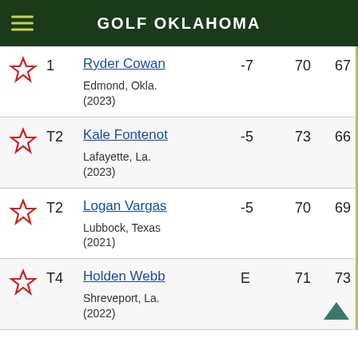GOLF OKLAHOMA
|  | Pos | Player | Score | R1 | R2 |
| --- | --- | --- | --- | --- | --- |
| ★ | 1 | Ryder Cowan
Edmond, Okla. (2023) | -7 | 70 | 67 |
| ★ | T2 | Kale Fontenot
Lafayette, La. (2023) | -5 | 73 | 66 |
| ★ | T2 | Logan Vargas
Lubbock, Texas (2021) | -5 | 70 | 69 |
| ★ | T4 | Holden Webb
Shreveport, La. (2022) | E | 71 | 73 |